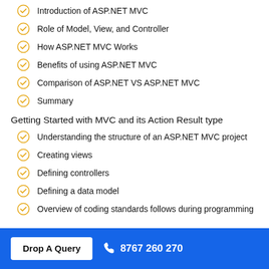Introduction of ASP.NET MVC
Role of Model, View, and Controller
How ASP.NET MVC Works
Benefits of using ASP.NET MVC
Comparison of ASP.NET VS ASP.NET MVC
Summary
Getting Started with MVC and its Action Result type
Understanding the structure of an ASP.NET MVC project
Creating views
Defining controllers
Defining a data model
Overview of coding standards follows during programming
Drop A Query   8767 260 270